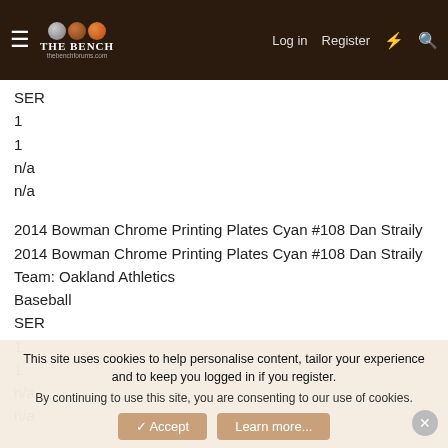THE BENCH - thebenchforums.com | Log in | Register
SER
1
1
n/a
n/a
2014 Bowman Chrome Printing Plates Cyan #108 Dan Straily
2014 Bowman Chrome Printing Plates Cyan #108 Dan Straily
Team: Oakland Athletics
Baseball
SER
1
1
n/a
n/a
This site uses cookies to help personalise content, tailor your experience and to keep you logged in if you register.
By continuing to use this site, you are consenting to our use of cookies.